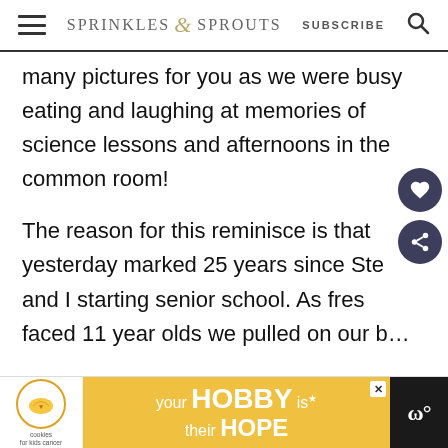Sprinkles & Sprouts | SUBSCRIBE
many pictures for you as we were busy eating and laughing at memories of science lessons and afternoons in the common room!
The reason for this reminisce is that yesterday marked 25 years since Stew and I starting senior school. As fresh faced 11 year olds we pulled on our b... ...t we
[Figure (other): Advertisement banner: cookies for kids cancer logo, 'your HOBBY is their HOPE' text on yellow background, close button, and dark panel on right]